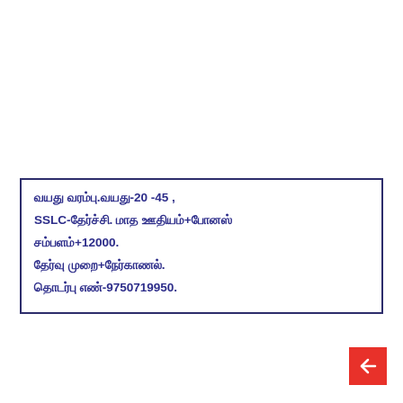வயது வரம்பு.வயது-20 -45 , SSLC-தேர்ச்சி. மாத ஊதியம்+போனஸ் சம்பளம்+12000. தேர்வு முறை+நேர்காணல். தொடர்பு எண்-9750719950.